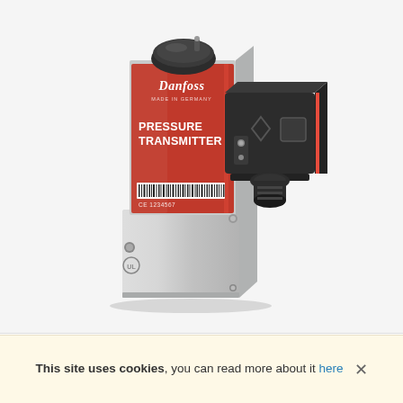[Figure (photo): Photo of a Danfoss pressure transmitter device. It has a rectangular stainless steel body with a prominent red label panel showing the Danfoss logo and text 'PRESSURE TRANSMITTER'. A barcode and CE marking are visible on the label. A black electrical connector/plug housing extends to the right side. A black cap sits on top of the unit.]
This site uses cookies, you can read more about it here ×